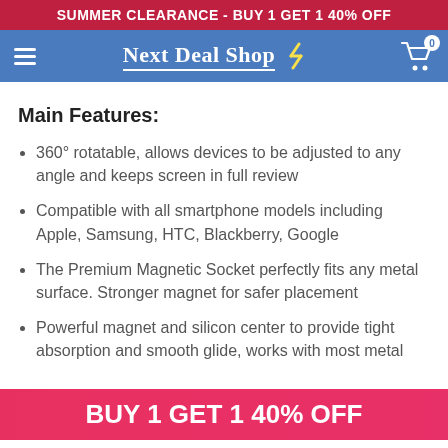SUMMER CLEARANCE - BUY 1 GET 1 40% OFF
[Figure (logo): Next Deal Shop navigation bar with hamburger menu, logo text 'Next Deal Shop', and shopping cart icon with badge 0]
Main Features:
360° rotatable, allows devices to be adjusted to any angle and keeps screen in full review
Compatible with all smartphone models including Apple, Samsung, HTC, Blackberry, Google
The Premium Magnetic Socket perfectly fits any metal surface. Stronger magnet for safer placement
Powerful magnet and silicon center to provide tight absorption and smooth glide, works with most metal
BUY 1 GET 1 40% OFF
+ Add to Cart